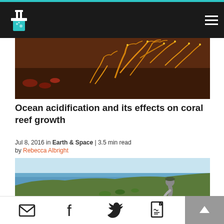Science news website header with logo and hamburger menu
[Figure (photo): Close-up photo of orange and brown coral reef]
Ocean acidification and its effects on coral reef growth
Jul 8, 2016 in Earth & Space | 3.5 min read by Rebecca Albright
[Figure (photo): Person bending over rocky hillside with ocean in background]
Resetting nature's clock: shifting seasons and